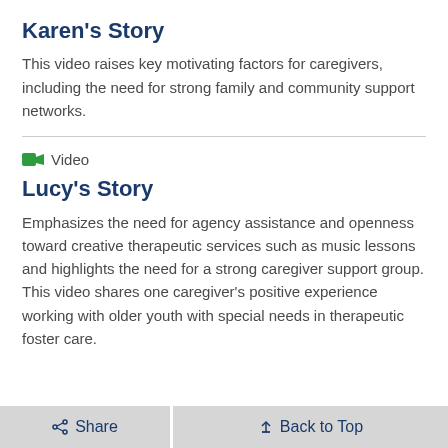Karen's Story
This video raises key motivating factors for caregivers, including the need for strong family and community support networks.
Video
Lucy's Story
Emphasizes the need for agency assistance and openness toward creative therapeutic services such as music lessons and highlights the need for a strong caregiver support group. This video shares one caregiver's positive experience working with older youth with special needs in therapeutic foster care.
Share   Back to Top